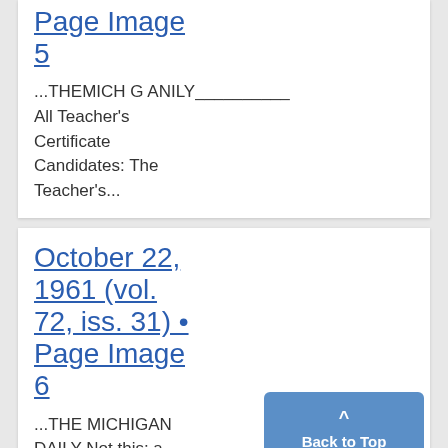Page Image 5
...THEMICH G ANILY__________ All Teacher's Certificate Candidates: The Teacher's...
October 22, 1961 (vol. 72, iss. 31) • Page Image 6
...THE MICHIGAN DAILY Not this: a